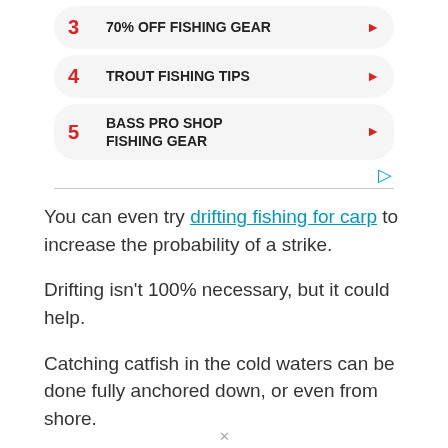3  70% OFF FISHING GEAR
4  TROUT FISHING TIPS
5  BASS PRO SHOP FISHING GEAR
You can even try drifting fishing for carp to increase the probability of a strike.
Drifting isn't 100% necessary, but it could help.
Catching catfish in the cold waters can be done fully anchored down, or even from shore.